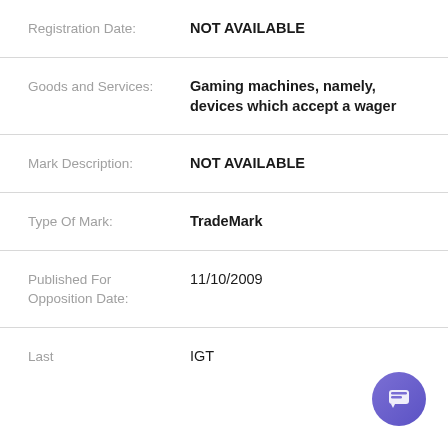Registration Date: NOT AVAILABLE
Goods and Services: Gaming machines, namely, devices which accept a wager
Mark Description: NOT AVAILABLE
Type Of Mark: TradeMark
Published For Opposition Date: 11/10/2009
Last: IGT